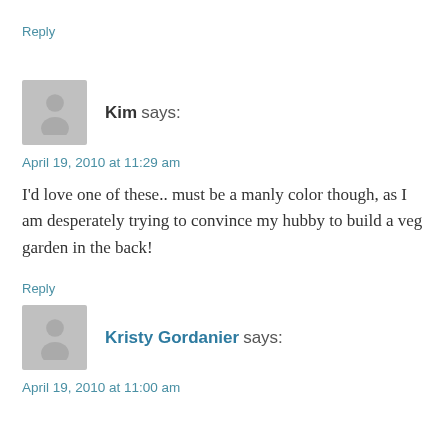Reply
Kim says:
April 19, 2010 at 11:29 am
I'd love one of these.. must be a manly color though, as I am desperately trying to convince my hubby to build a veg garden in the back!
Reply
Kristy Gordanier says:
April 19, 2010 at 11:00 am